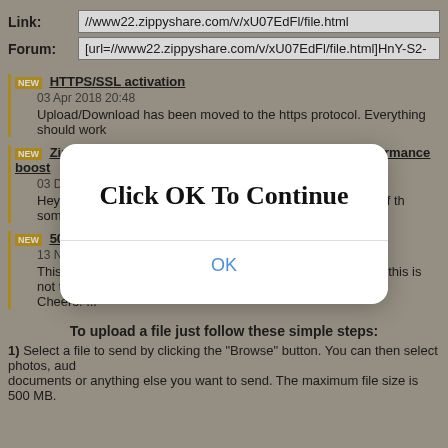Link: //www22.zippyshare.com/v/xU07EdFl/file.html
Forum: [url=//www22.zippyshare.com/v/xU07EdFl/file.html]HnY-S2-...
HTTPS/SSL activation — 03 Apr 2018 20:48 — Upload/Download has been moved to the https protocol. Everything should work...
ZippyUploader update, report bugs here — performance boost — 03 Dec 2017 21:00 — Hey folks, <strong>A quick update:</strong> Today a new version (0.0.16.0) of the something ...
500MB - We just increased the file size limit — 13 Nov 2017 00:08 — This is probably a long-awaited update, but I assure you that this is not the last chan... Cheers! ...
[Figure (screenshot): Modal dialog overlay with title 'Click OK To Continue' and an OK button in blue text]
To upload a file just follow these simple steps:
1) Select a file to send by clicking the "Browse" button. You can then select photos, audio, video, documents or anything else you want to send. The maximum file size is 500 MB.